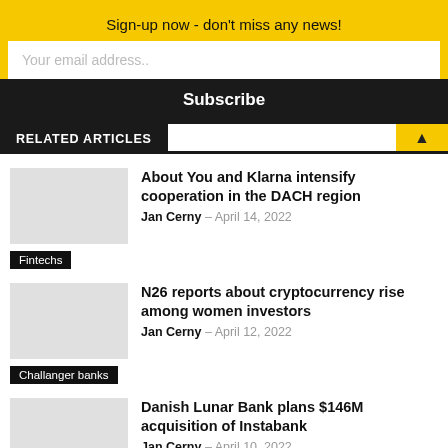Sign-up now - don't miss any news!
Your email address..
Subscribe
RELATED ARTICLES
About You and Klarna intensify cooperation in the DACH region
Jan Cerny – April 14, 2022
Fintechs
N26 reports about cryptocurrency rise among women investors
Jan Cerny – April 12, 2022
Challanger banks
Danish Lunar Bank plans $146M acquisition of Instabank
Jan Cerny – April 10, 2022